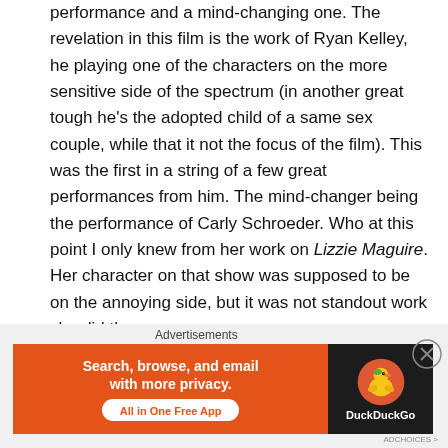performance and a mind-changing one. The revelation in this film is the work of Ryan Kelley, he playing one of the characters on the more sensitive side of the spectrum (in another great tough he's the adopted child of a same sex couple, while that it not the focus of the film). This was the first in a string of a few great performances from him. The mind-changer being the performance of Carly Schroeder. Who at this point I only knew from her work on Lizzie Maguire. Her character on that show was supposed to be on the annoying side, but it was not standout work she did there.
Advertisements
[Figure (other): DuckDuckGo advertisement banner: orange left side with text 'Search, browse, and email with more privacy. All in One Free App' and dark right side with DuckDuckGo duck logo and brand name.]